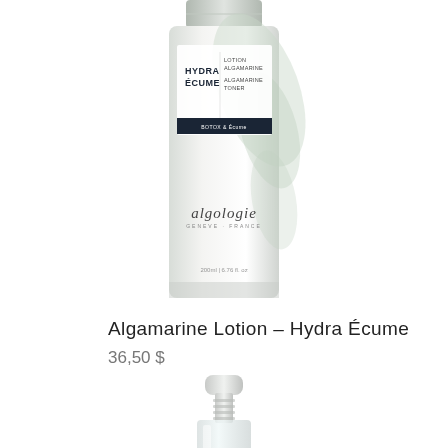[Figure (photo): Algologie Hydra Écume Algamarine Lotion bottle — tall slim white bottle with green botanical design, dark navy label band reading HYDRA ÉCUME / LOTION ALGAMARINE / ALGAMARINE TONER, algologie brand name at bottom, 200ml]
Algamarine Lotion – Hydra Écume
36,50 $
[Figure (photo): Partial view of a clear glass pump dispenser bottle top — white pump cap with ribbed glass bottle neck visible from top]